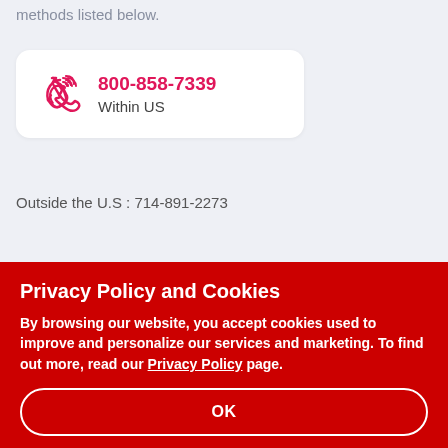methods listed below.
800-858-7339
Within US
Outside the U.S : 714-891-2273
Privacy Policy and Cookies
By browsing our website, you accept cookies used to improve and personalize our services and marketing. To find out more, read our Privacy Policy page.
OK